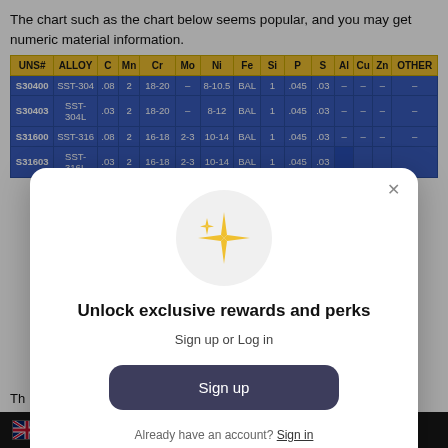The chart such as the chart below seems popular, and you may get numeric material information.
| UNS# | ALLOY | C | Mn | Cr | Mo | Ni | Fe | Si | P | S | Al | Cu | Zn | OTHER |
| --- | --- | --- | --- | --- | --- | --- | --- | --- | --- | --- | --- | --- | --- | --- |
| S30400 | SST-304 | .08 | 2 | 18-20 | – | 8-10.5 | BAL | 1 | .045 | .03 | – | – | – | – |
| S30403 | SST-304L | .03 | 2 | 18-20 | – | 8-12 | BAL | 1 | .045 | .03 | – | – | – | – |
| S31600 | SST-316 | .08 | 2 | 16-18 | 2-3 | 10-14 | BAL | 1 | .045 | .03 | – | – | – | – |
| S31603 | SST-316L | .03 | 2 | 16-18 | 2-3 | 10-14 | BAL | 1 | .045 | .03 | – | – | – | – |
[Figure (screenshot): Modal dialog overlay with sparkle icon, 'Unlock exclusive rewards and perks' heading, 'Sign up or Log in' subtitle, Sign up button, and 'Already have an account? Sign in' footer link.]
Th
English